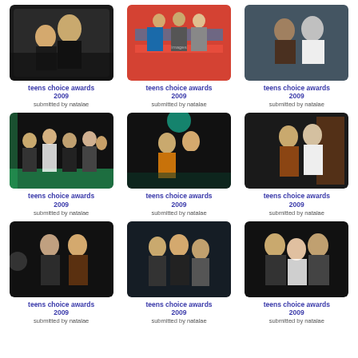[Figure (photo): Two people posing together at teens choice awards 2009]
teens choice awards 2009
submitted by natalae
[Figure (photo): Group on stage at teens choice awards 2009]
teens choice awards 2009
submitted by natalae
[Figure (photo): Two men outdoors at teens choice awards 2009]
teens choice awards 2009
submitted by natalae
[Figure (photo): Large group on stage at teens choice awards 2009]
teens choice awards 2009
submitted by natalae
[Figure (photo): People dancing on stage at teens choice awards 2009]
teens choice awards 2009
submitted by natalae
[Figure (photo): Two people posing at teens choice awards 2009]
teens choice awards 2009
submitted by natalae
[Figure (photo): Two men posing at teens choice awards 2009]
teens choice awards 2009
submitted by natalae
[Figure (photo): Group of three people at teens choice awards 2009]
teens choice awards 2009
submitted by natalae
[Figure (photo): Three people posing at teens choice awards 2009]
teens choice awards 2009
submitted by natalae